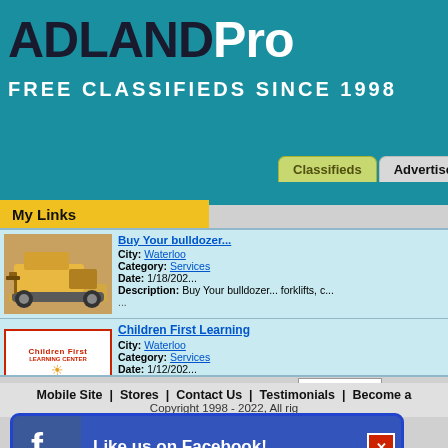ADLANDPro - FREE CLASSIFIEDS SINCE 1998
My Links
City: Waterloo | Category: Services | Date: 1/18/202... | Description: Buy Your bulldozer... forklifts, c... ....
Children First Learning - City: Waterloo | Category: Services | Date: 1/12/202... | Description: Day care provided alternative pl...
Mobile Site | Stores | Contact Us | Testimonials | Become a... Copyright 1998 - 2022, All rig...
Like us on Facebook!